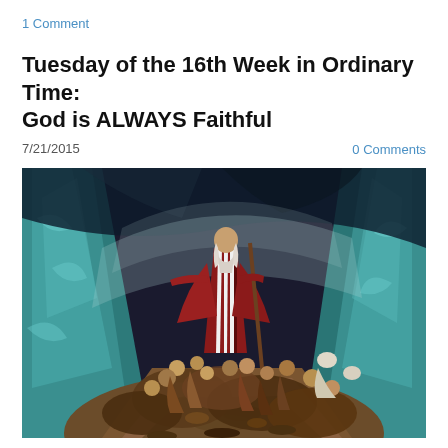1 Comment
Tuesday of the 16th Week in Ordinary Time: God is ALWAYS Faithful
7/21/2015
0 Comments
[Figure (photo): Movie still from The Ten Commandments showing Moses figure in striped red robe with staff, arms outstretched, standing before a crowd of people between parted walls of water (the parting of the Red Sea scene).]